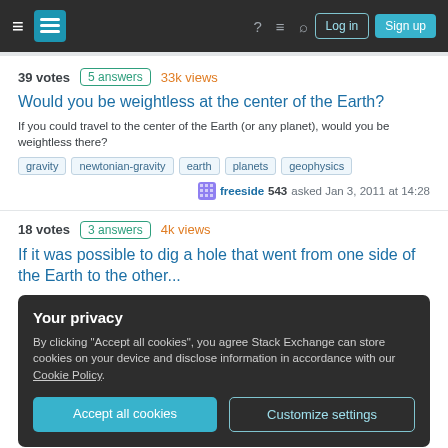Stack Exchange navigation bar with hamburger menu, logo, help, chat, search icons, Log in and Sign up buttons
39 votes  5 answers  33k views
Would you be weightless at the center of the Earth?
If you could travel to the center of the Earth (or any planet), would you be weightless there?
gravity
newtonian-gravity
earth
planets
geophysics
freeside 543 asked Jan 3, 2011 at 14:28
18 votes  3 answers  4k views
If it was possible to dig a hole that went from one side of the Earth to the other...
Your privacy
By clicking "Accept all cookies", you agree Stack Exchange can store cookies on your device and disclose information in accordance with our Cookie Policy.
Accept all cookies  Customize settings
Why is Earth's gravity stronger at the poles?